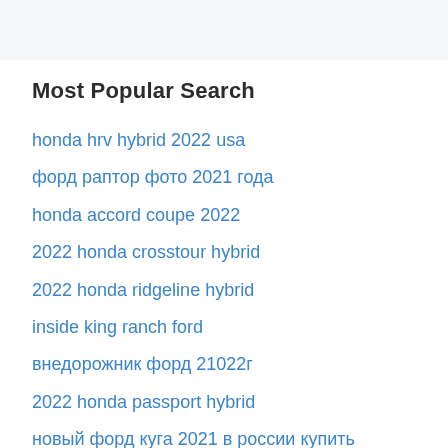Most Popular Search
honda hrv hybrid 2022 usa
форд раптор фото 2021 года
honda accord coupe 2022
2022 honda crosstour hybrid
2022 honda ridgeline hybrid
inside king ranch ford
внедорожник форд 21022г
2022 honda passport hybrid
новый форд куга 2021 в россии купить
2022 Ford Explorer Timberline 4WD